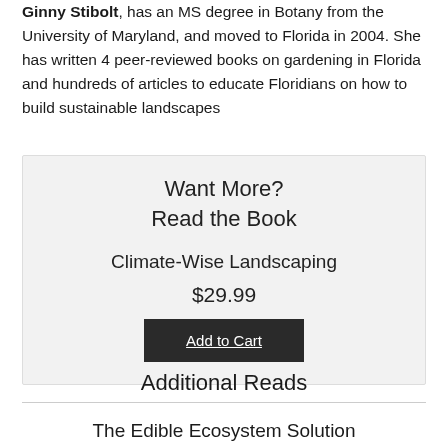Ginny Stibolt, has an MS degree in Botany from the University of Maryland, and moved to Florida in 2004. She has written 4 peer-reviewed books on gardening in Florida and hundreds of articles to educate Floridians on how to build sustainable landscapes
Want More?
Read the Book

Climate-Wise Landscaping

$29.99

Add to Cart
Additional Reads
The Edible Ecosystem Solution